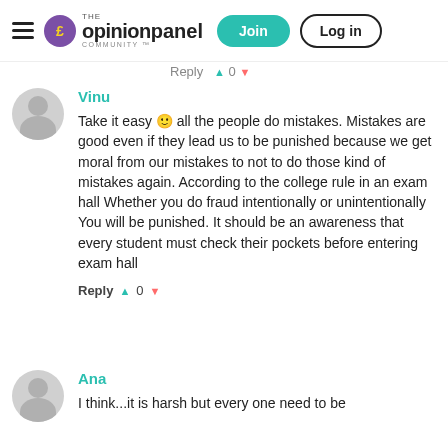The Opinion Panel Community — Join | Log in
Reply ▲ 0 ▼
Vinu
Take it easy 🙂 all the people do mistakes. Mistakes are good even if they lead us to be punished because we get moral from our mistakes to not to do those kind of mistakes again. According to the college rule in an exam hall Whether you do fraud intentionally or unintentionally You will be punished. It should be an awareness that every student must check their pockets before entering exam hall
Reply ▲ 0 ▼
Ana
I think...it is harsh but every one need to be